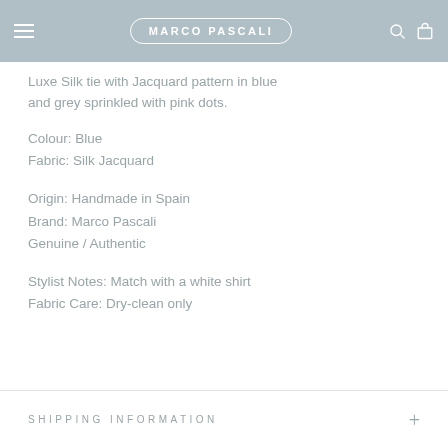MARCO PASCALI
Luxe Silk tie with Jacquard pattern in blue and grey sprinkled with pink dots.
Colour: Blue
Fabric: Silk Jacquard
Origin: Handmade in Spain
Brand: Marco Pascali
Genuine / Authentic
Stylist Notes: Match with a white shirt
Fabric Care: Dry-clean only
SHIPPING INFORMATION